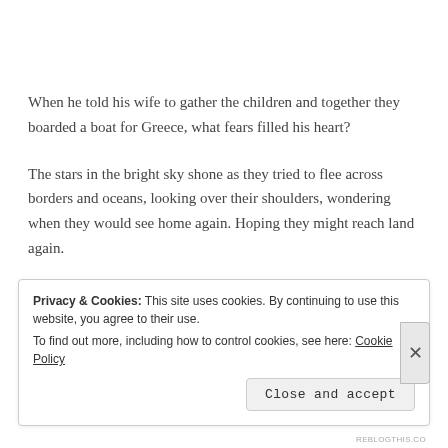When he told his wife to gather the children and together they boarded a boat for Greece, what fears filled his heart?
The stars in the bright sky shone as they tried to flee across borders and oceans, looking over their shoulders, wondering when they would see home again. Hoping they might reach land again.
The children of God dance in the…
Privacy & Cookies: This site uses cookies. By continuing to use this website, you agree to their use.
To find out more, including how to control cookies, see here: Cookie Policy
Close and accept